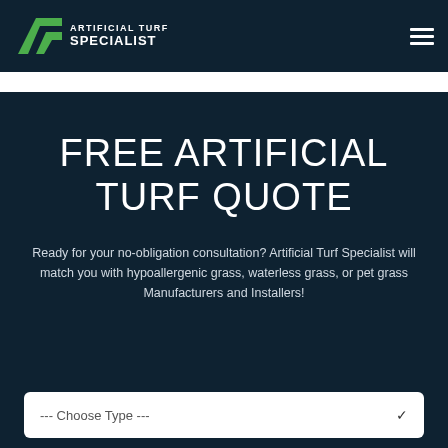ARTIFICIAL TURF SPECIALIST
FREE ARTIFICIAL TURF QUOTE
Ready for your no-obligation consultation? Artificial Turf Specialist will match you with hypoallergenic grass, waterless grass, or pet grass Manufacturers and Installers!
--- Choose Type ---